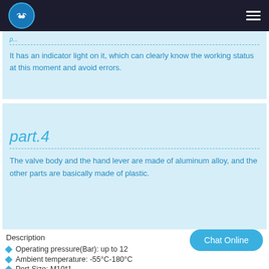AIRWOLF
It has an indicator light on it, which can clearly know the working status at this moment and avoid errors.
part.4
The valve body and the hand lever are made of aluminum alloy, and the other parts are basically made of plastic.
Description
Operating pressure(Bar): up to 12
Ambient temperature: -55°C-180°C
Port Size: M10*1